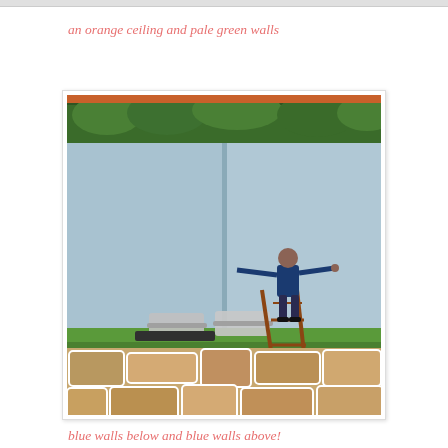an orange ceiling and pale green walls
[Figure (photo): A person on a ladder painting a pale blue wall in an outdoor courtyard setting. There are lounge chairs on a grass ledge. Below the ledge is a large stone wall made of irregular flat stones. In front of the stone wall is a swimming pool with blue water. Green trees/hedges are visible at the top of the blue wall.]
blue walls below and blue walls above!